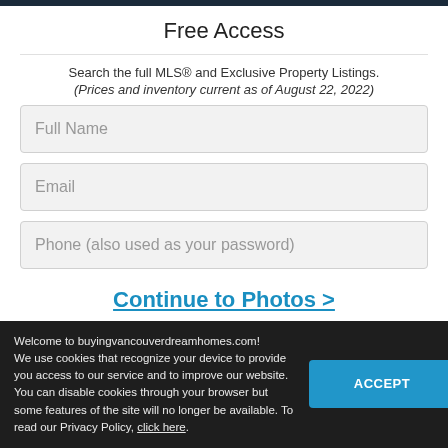Free Access
Search the full MLS® and Exclusive Property Listings.
(Prices and inventory current as of August 22, 2022)
Full Name
Email
Phone (also used as your password)
Continue to Photos >
Already have an account?
Welcome to buyingvancouverdreamhomes.com! We use cookies that recognize your device to provide you access to our service and to improve our website. You can disable cookies through your browser but some features of the site will no longer be available. To read our Privacy Policy, click here.
ACCEPT